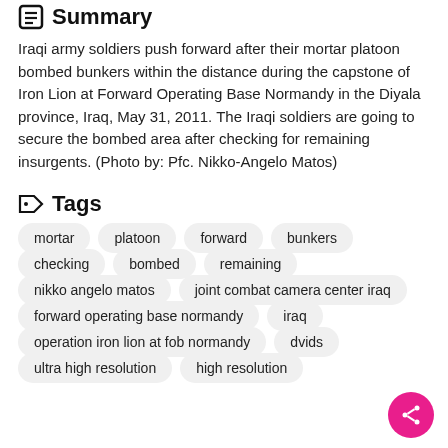Summary
Iraqi army soldiers push forward after their mortar platoon bombed bunkers within the distance during the capstone of Iron Lion at Forward Operating Base Normandy in the Diyala province, Iraq, May 31, 2011. The Iraqi soldiers are going to secure the bombed area after checking for remaining insurgents. (Photo by: Pfc. Nikko-Angelo Matos)
Tags
mortar
platoon
forward
bunkers
checking
bombed
remaining
nikko angelo matos
joint combat camera center iraq
forward operating base normandy
iraq
operation iron lion at fob normandy
dvids
ultra high resolution
high resolution